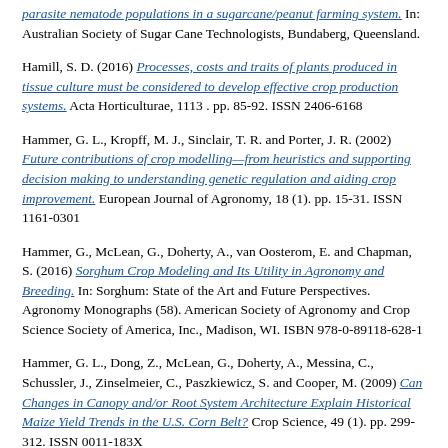parasite nematode populations in a sugarcane/peanut farming system. In: Australian Society of Sugar Cane Technologists, Bundaberg, Queensland.
Hamill, S. D. (2016) Processes, costs and traits of plants produced in tissue culture must be considered to develop effective crop production systems. Acta Horticulturae, 1113 . pp. 85-92. ISSN 2406-6168
Hammer, G. L., Kropff, M. J., Sinclair, T. R. and Porter, J. R. (2002) Future contributions of crop modelling—from heuristics and supporting decision making to understanding genetic regulation and aiding crop improvement. European Journal of Agronomy, 18 (1). pp. 15-31. ISSN 1161-0301
Hammer, G., McLean, G., Doherty, A., van Oosterom, E. and Chapman, S. (2016) Sorghum Crop Modeling and Its Utility in Agronomy and Breeding. In: Sorghum: State of the Art and Future Perspectives. Agronomy Monographs (58). American Society of Agronomy and Crop Science Society of America, Inc., Madison, WI. ISBN 978-0-89118-628-1
Hammer, G. L., Dong, Z., McLean, G., Doherty, A., Messina, C., Schussler, J., Zinselmeier, C., Paszkiewicz, S. and Cooper, M. (2009) Can Changes in Canopy and/or Root System Architecture Explain Historical Maize Yield Trends in the U.S. Corn Belt? Crop Science, 49 (1). pp. 299-312. ISSN 0011-183X
Han, H., Yu, Q., Widderick, M. J. and Powles, S. B. (2016) Target-site